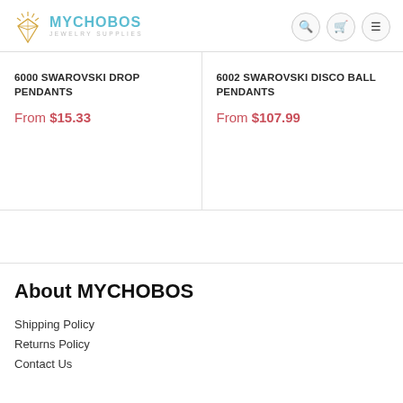[Figure (logo): MYCHOBOS Jewelry Supplies logo with diamond gem icon and teal text]
6000 SWAROVSKI DROP PENDANTS From $15.33
6002 SWAROVSKI DISCO BALL PENDANTS From $107.99
About MYCHOBOS
Shipping Policy
Returns Policy
Contact Us